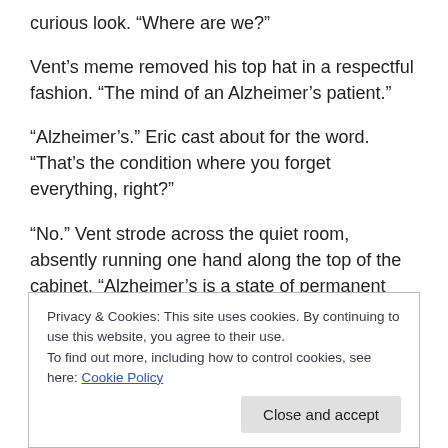curious look. “Where are we?”
Vent’s meme removed his top hat in a respectful fashion. “The mind of an Alzheimer’s patient.”
“Alzheimer’s.” Eric cast about for the word. “That’s the condition where you forget everything, right?”
“No.” Vent strode across the quiet room, absently running one hand along the top of the cabinet. “Alzheimer’s is a state of permanent short term memory loss. People will remember events from ten or twenty years ago just fine
Privacy & Cookies: This site uses cookies. By continuing to use this website, you agree to their use.
To find out more, including how to control cookies, see here: Cookie Policy